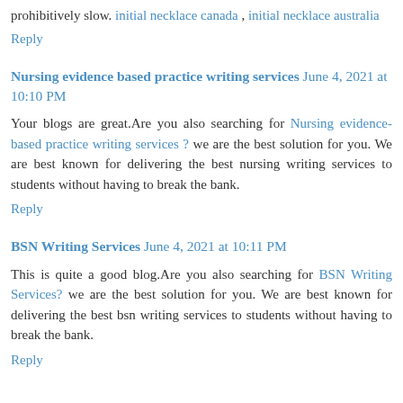prohibitively slow. initial necklace canada , initial necklace australia
Reply
Nursing evidence based practice writing services June 4, 2021 at 10:10 PM
Your blogs are great.Are you also searching for Nursing evidence-based practice writing services ? we are the best solution for you. We are best known for delivering the best nursing writing services to students without having to break the bank.
Reply
BSN Writing Services June 4, 2021 at 10:11 PM
This is quite a good blog.Are you also searching for BSN Writing Services? we are the best solution for you. We are best known for delivering the best bsn writing services to students without having to break the bank.
Reply